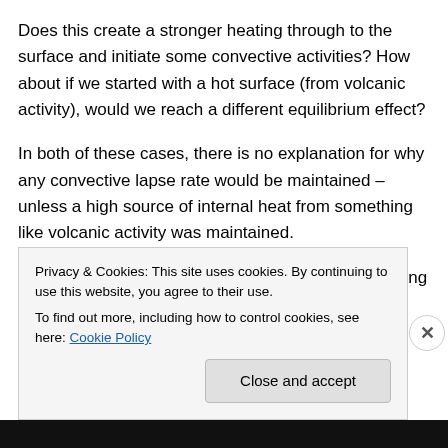Does this create a stronger heating through to the surface and initiate some convective activities? How about if we started with a hot surface (from volcanic activity), would we reach a different equilibrium effect?
In both of these cases, there is no explanation for why any convective lapse rate would be maintained – unless a high source of internal heat from something like volcanic activity was maintained.
If we started with a hot initial condition (but no ongoing source of heat) instead of a cold initial condition
Privacy & Cookies: This site uses cookies. By continuing to use this website, you agree to their use.
To find out more, including how to control cookies, see here: Cookie Policy